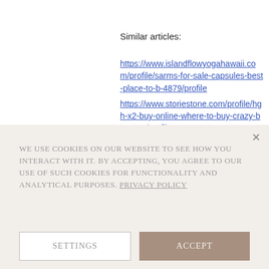Similar articles:
https://www.islandflowyogahawaii.com/profile/sarms-for-sale-capsules-best-place-to-b-4879/profile
https://www.storiestone.com/profile/hgh-x2-buy-online-where-to-buy-crazy-bu-5382/profile
https://www.katrinalarida.com/profile/bulking-x-cutting-powerlifting-bulking-837/profile
https://www.baliwa.de/profile/best-mass-building-supplements-2022-bes-7004/profile
We use cookies on our website to see how you interact with it. By accepting, you agree to our use of such cookies for functionality and analytical purposes. Privacy Policy